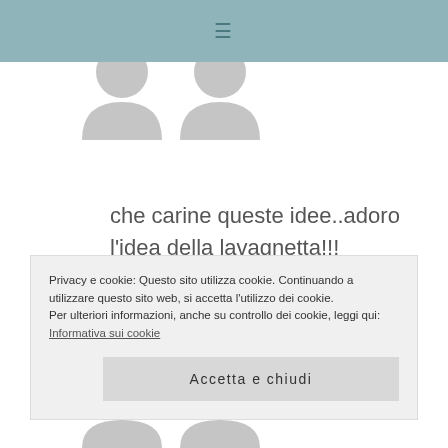≡
[Figure (illustration): User avatar placeholder (grey silhouette shape) at top]
che carine queste idee..adoro l'idea della lavagnetta!!!
http://sollevando.it
Rispondi
Privacy e cookie: Questo sito utilizza cookie. Continuando a utilizzare questo sito web, si accetta l'utilizzo dei cookie.
Per ulteriori informazioni, anche su controllo dei cookie, leggi qui:
Informativa sui cookie
Accetta e chiudi